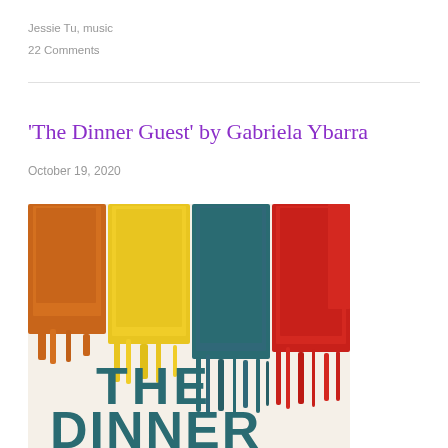Jessie Tu, music
22 Comments
'The Dinner Guest' by Gabriela Ybarra
October 19, 2020
[Figure (illustration): Book cover of 'The Dinner Guest' by Gabriela Ybarra, showing thick brushstroke rectangles in orange/brown, yellow, dark teal, and red on a cream background, with the title text 'THE DINNER' visible at the bottom in teal bold letters.]